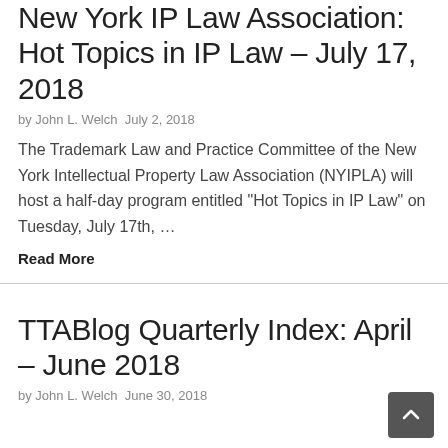New York IP Law Association: Hot Topics in IP Law – July 17, 2018
by John L. Welch July 2, 2018
The Trademark Law and Practice Committee of the New York Intellectual Property Law Association (NYIPLA) will host a half-day program entitled "Hot Topics in IP Law" on Tuesday, July 17th, …
Read More
TTABlog Quarterly Index: April – June 2018
by John L. Welch June 30, 2018